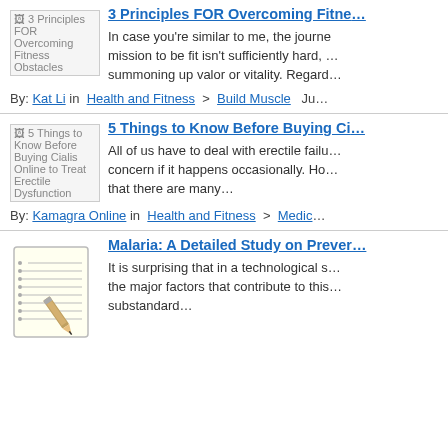[Figure (illustration): Broken image thumbnail for '3 Principles FOR Overcoming Fitness Obstacles' article]
3 Principles FOR Overcoming Fitness Obstacles
In case you're similar to me, the journey on a mission to be fit isn't sufficiently hard, ... summoning up valor or vitality. Regard...
By: Kat Li in  Health and Fitness  >  Build Muscle  Ju
[Figure (illustration): Broken image thumbnail for '5 Things to Know Before Buying Cialis Online to Treat Erectile Dysfunction' article]
5 Things to Know Before Buying Cialis Online to Treat Erectile Dysfunction
All of us have to deal with erectile failure... concern if it happens occasionally. Ho... that there are many...
By: Kamagra Online in  Health and Fitness  >  Medic...
[Figure (illustration): Notepad with pencil illustration for 'Malaria: A Detailed Study on Prevention...' article]
Malaria: A Detailed Study on Prevention...
It is surprising that in a technological s... the major factors that contribute to this... substandard...